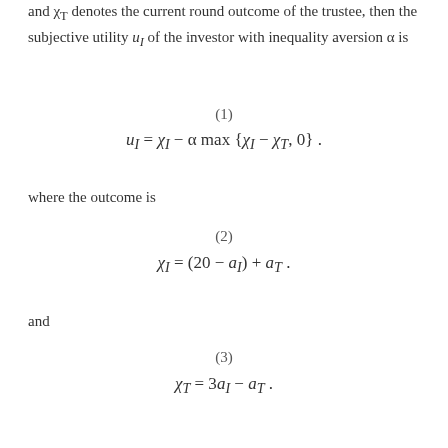and χT denotes the current round outcome of the trustee, then the subjective utility uI of the investor with inequality aversion α is
where the outcome is
and